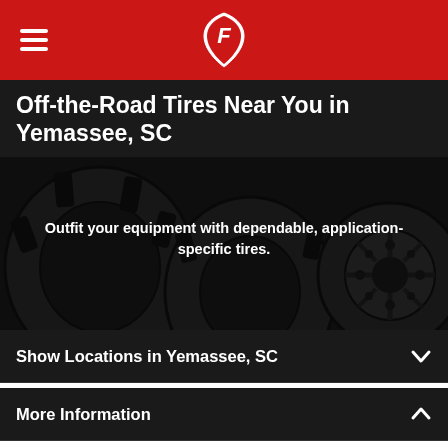Firestone logo and navigation hamburger menu
Off-the-Road Tires Near You in Yemassee, SC
[Figure (photo): Dark background photo of off-the-road tires including agricultural and industrial tires with overlay text: Outfit your equipment with dependable, application-specific tires.]
Show Locations in Yemassee, SC
More Information
When your equipment rolls on Firestone tires, your job runs smoothly from start to finish. Find a Yemassee off-the-road tire